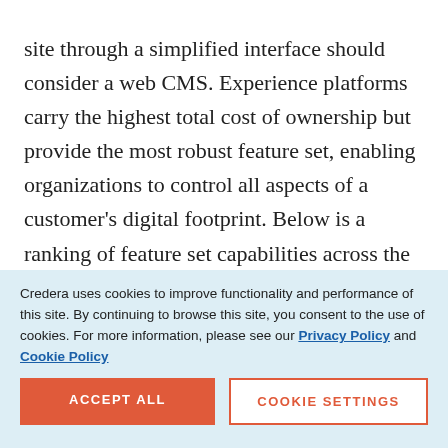site through a simplified interface should consider a web CMS. Experience platforms carry the highest total cost of ownership but provide the most robust feature set, enabling organizations to control all aspects of a customer's digital footprint. Below is a ranking of feature set capabilities across the three CMS/CEM product types:
EXPERIENCE
Credera uses cookies to improve functionality and performance of this site. By continuing to browse this site, you consent to the use of cookies. For more information, please see our Privacy Policy and Cookie Policy